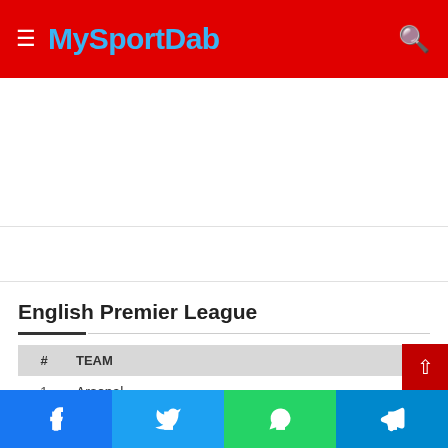MySportDab
English Premier League
| # | TEAM | P |
| --- | --- | --- |
| 1 | Arsenal |  |
| 2 | Manchester City | 13 |